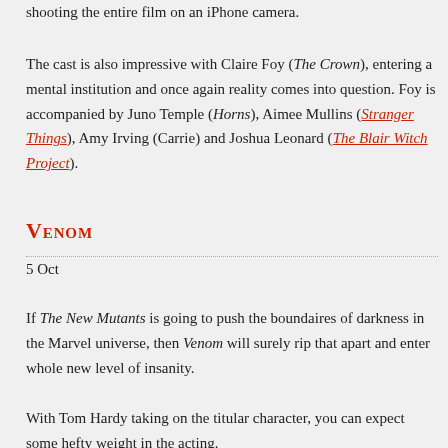shooting the entire film on an iPhone camera.
The cast is also impressive with Claire Foy (The Crown), entering a mental institution and once again reality comes into question. Foy is accompanied by Juno Temple (Horns), Aimee Mullins (Stranger Things), Amy Irving (Carrie) and Joshua Leonard (The Blair Witch Project).
Venom
5 Oct
If The New Mutants is going to push the boundaires of darkness in the Marvel universe, then Venom will surely rip that apart and enter whole new level of insanity.
With Tom Hardy taking on the titular character, you can expect some hefty weight in the acting.